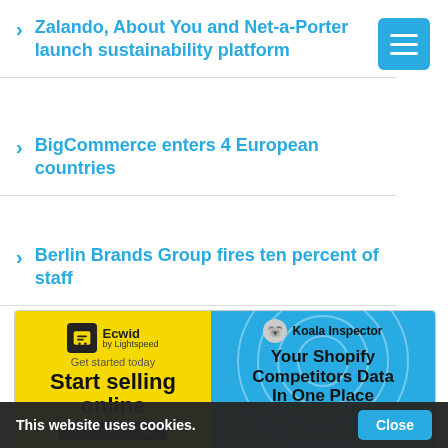Zalando, About You and Net-a-Porter launch sustainability platform
BigCommerce enters 4 European countries
Berlin Brands Group fires ten percent of staff
[Figure (screenshot): Ecwid by Lightspeed advertisement: Start selling online. Get started for FREE.]
[Figure (screenshot): Koala Inspector advertisement: Your Shopify Competitors Data In One Place. FREE to...]
This website uses cookies.
Close